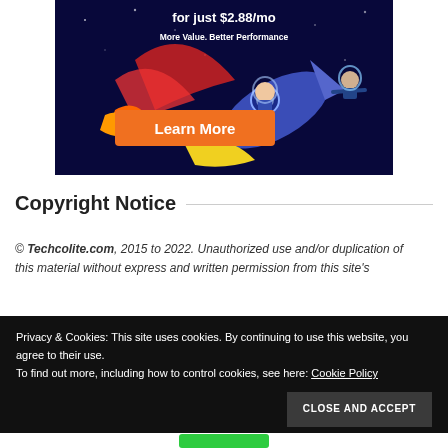[Figure (illustration): Advertisement banner with dark navy background showing a rocket ship with two illustrated astronaut characters, text 'for just $2.88/mo', 'More Value. Better Performance', and an orange 'Learn More' button.]
Copyright Notice
© Techcolite.com, 2015 to 2022. Unauthorized use and/or duplication of this material without express and written permission from this site's
Privacy & Cookies: This site uses cookies. By continuing to use this website, you agree to their use.
To find out more, including how to control cookies, see here: Cookie Policy
CLOSE AND ACCEPT